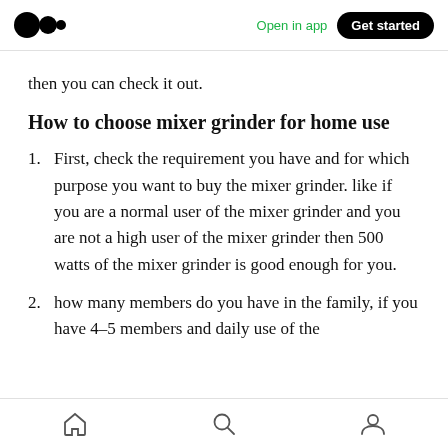Medium — Open in app | Get started
then you can check it out.
How to choose mixer grinder for home use
1. First, check the requirement you have and for which purpose you want to buy the mixer grinder. like if you are a normal user of the mixer grinder and you are not a high user of the mixer grinder then 500 watts of the mixer grinder is good enough for you.
2. how many members do you have in the family, if you have 4–5 members and daily use of the
Home | Search | Profile